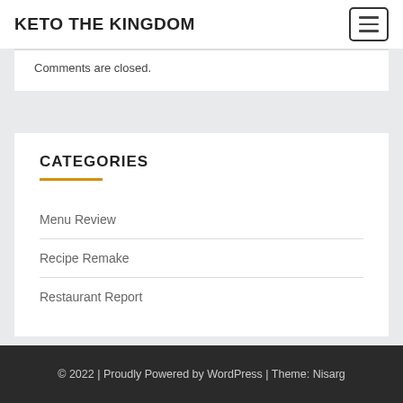KETO THE KINGDOM
Comments are closed.
CATEGORIES
Menu Review
Recipe Remake
Restaurant Report
© 2022 | Proudly Powered by WordPress | Theme: Nisarg